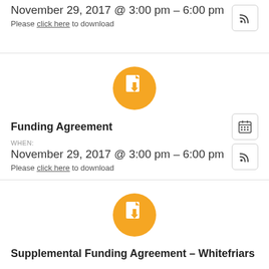November 29, 2017 @ 3:00 pm – 6:00 pm
Please click here to download
[Figure (illustration): Orange circle icon with a document and download arrow]
Funding Agreement
WHEN:
November 29, 2017 @ 3:00 pm – 6:00 pm
Please click here to download
[Figure (illustration): Orange circle icon with a document and download arrow]
Supplemental Funding Agreement – Whitefriars